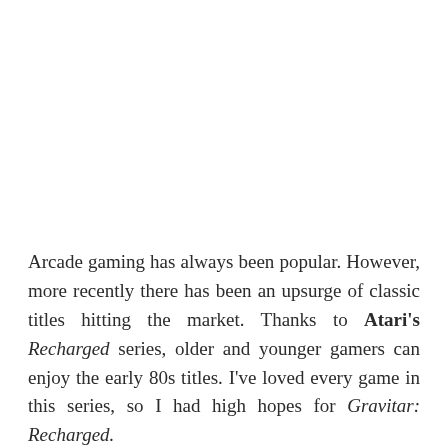Arcade gaming has always been popular. However, more recently there has been an upsurge of classic titles hitting the market. Thanks to Atari's Recharged series, older and younger gamers can enjoy the early 80s titles. I've loved every game in this series, so I had high hopes for Gravitar: Recharged.